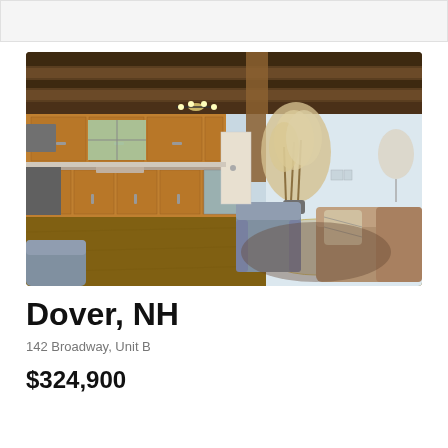[Figure (photo): Interior photo of a home showing an open-plan living and kitchen area with wood beam ceiling, honey-oak cabinets, stainless appliances, hardwood floors, and living room furniture including a gray armchair and tan sofa with a round glass coffee table.]
Dover, NH
142 Broadway, Unit B
$324,900